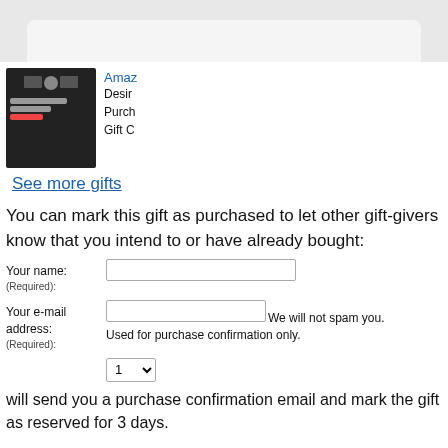[Figure (photo): Top portion of a product image on light gray background showing a rounded white tray/plate]
[Figure (photo): Amazon gift card thumbnail with electronics (laptop, headphones, tablet) on dark background, showing $100.00 value]
Amazon...
Desi...
Purch...
Gift C...
See more gifts
You can mark this gift as purchased to let other gift-givers know that you intend to or have already bought:
Your name:
(Required):
Your e-mail address:
(Required):
We will not spam you. Used for purchase confirmation only.
will send you a purchase confirmation email and mark the gift as reserved for 3 days.